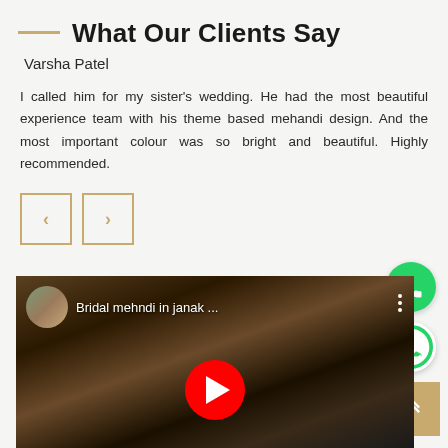What Our Clients Say
Varsha Patel
I called him for my sister's wedding. He had the most beautiful experience team with his theme based mehandi design. And the most important colour was so bright and beautiful. Highly recommended.
[Figure (other): Navigation buttons: left arrow and right arrow with gold border]
[Figure (screenshot): YouTube video thumbnail showing 'Bridal mehndi in janak ...' with henna-decorated feet visible, red play button overlay, and circular profile image]
[Figure (other): Green phone/call button (circular)]
[Figure (other): Green WhatsApp button (circular with border)]
[Figure (other): Gold/tan scroll-to-top button with upward chevrons]